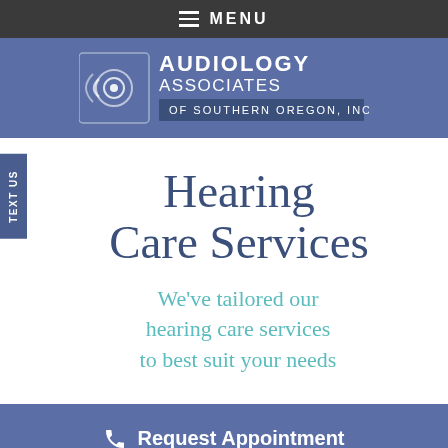MENU
[Figure (logo): Audiology Associates of Southern Oregon, Inc. logo with ear/sound wave icon]
Hearing Care Services
We've tailored our hearing care services to best suit your needs
Request Appointment